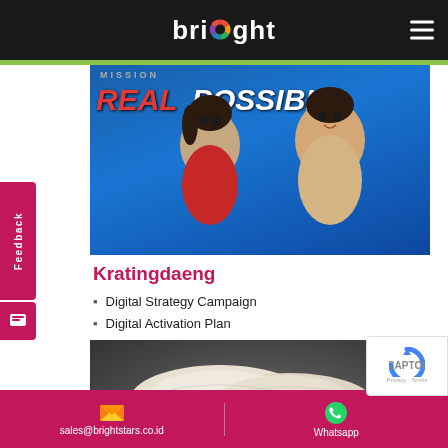bright
[Figure (illustration): Anime-style illustration with 'MISSION REAL POSSIBLE' text on blue background, showing two animated characters]
Kratingdaeng
Digital Strategy Campaign
Digital Activation Plan
[Figure (photo): Close-up photo of white baked goods or bread rolls on dark surface with watermark]
sales@brightstars.co.id | Whatsapp